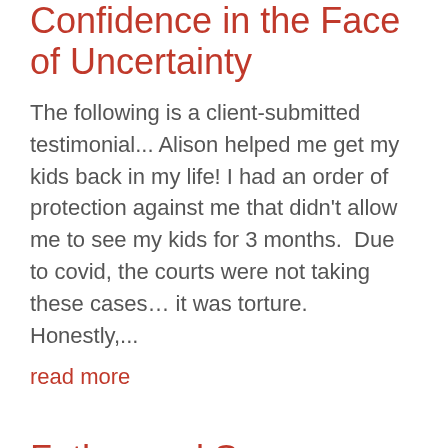Confidence in the Face of Uncertainty
The following is a client-submitted testimonial... Alison helped me get my kids back in my life! I had an order of protection against me that didn't allow me to see my kids for 3 months.  Due to covid, the courts were not taking these cases… it was torture.  Honestly,...
read more
Father and Son Reunited
The following is a client-submitted